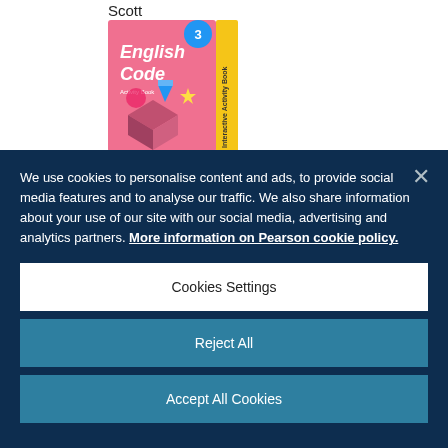Scott
[Figure (illustration): English Code 3 Interactive Activity Book cover — pink cover with 3D geometric shapes and a rocket/pencil, with yellow spine reading 'Interactive Activity Book']
We use cookies to personalise content and ads, to provide social media features and to analyse our traffic. We also share information about your use of our site with our social media, advertising and analytics partners. More information on Pearson cookie policy.
Cookies Settings
Reject All
Accept All Cookies